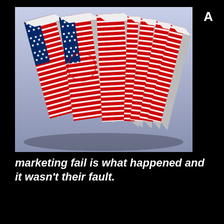A
[Figure (illustration): 3D block letters spelling 'USA' decorated with American flag pattern (stars and stripes in red, white and blue), shown falling like dominoes against a light blue-grey gradient background.]
marketing fail is what happened and it wasn't their fault.